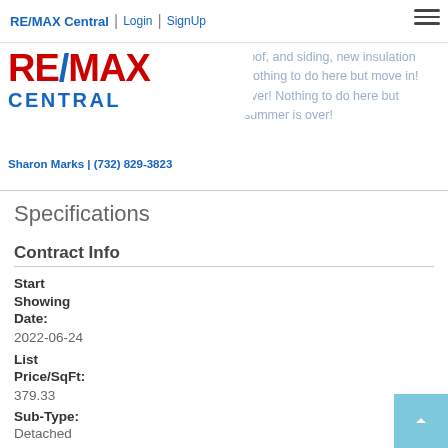RE/MAX Central | Login | SignUp
[Figure (logo): RE/MAX Central logo with red RE/MAX text, blue slash, and blue CENTRAL text below]
Sharon Marks | (732) 829-3823
sliders out to your pa... roof, and siding, new insulation...Nothing to do here but move in!...over! Nothing to do here but...summer is over!
Specifications
Contract Info
Start Showing Date:
2022-06-24
List Price/SqFt:
379.33
Sub-Type:
Detached